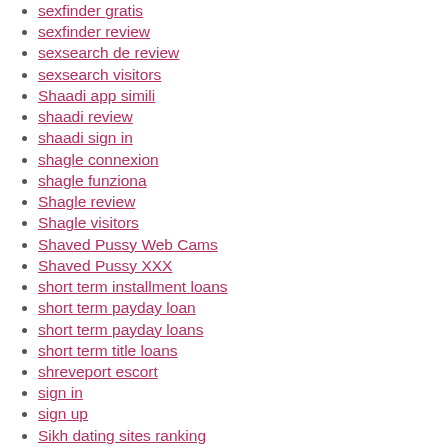sexfinder gratis
sexfinder review
sexsearch de review
sexsearch visitors
Shaadi app simili
shaadi review
shaadi sign in
shagle connexion
shagle funziona
Shagle review
Shagle visitors
Shaved Pussy Web Cams
Shaved Pussy XXX
short term installment loans
short term payday loan
short term payday loans
short term title loans
shreveport escort
sign in
sign up
Sikh dating sites ranking
silverdaddies hookup sites
silverdaddies reviews
silverdaddies search
SilverDaddy visitors